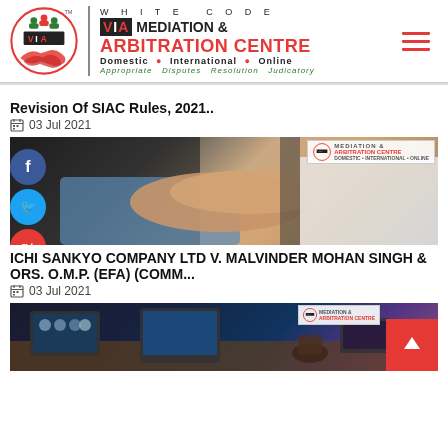[Figure (logo): White Code VIA Mediation & Arbitration Centre logo with circular emblem, handshake graphic, and text. Domestic, International, Online. Appropriate Disputes Resolution Judicatory.]
Revision Of SIAC Rules, 2021..
03 Jul 2021
[Figure (photo): Two people shaking hands in a business setting. VIA Mediation & Arbitration Centre watermark overlay in top right.]
ICHI SANKYO COMPANY LTD V. MALVINDER MOHAN SINGH D ORS. O.M.P. (EFA) (COMM...
03 Jul 2021
[Figure (photo): Online meeting / video conference setup with tablets and devices on a desk. VIA Mediation & Arbitration Centre watermark overlay.]